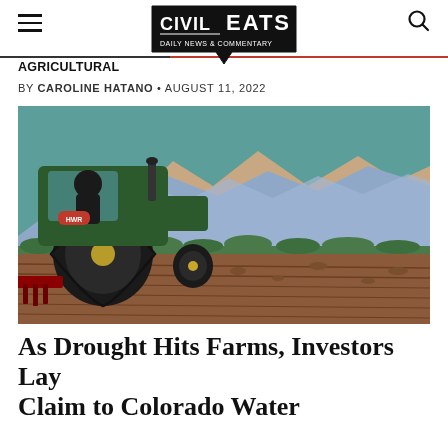Civil Eats
Agricultural
BY CAROLINE HATANO • AUGUST 11, 2022
[Figure (illustration): Illustration of a green John Deere tractor in the foreground plowing a brown field, with painted mountain ridges in shades of blue, lavender, and tan in the middle ground, and a teal-green sky behind them.]
As Drought Hits Farms, Investors Lay Claim to Colorado Water